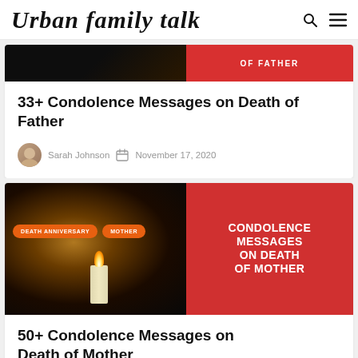Urban Family Talk
[Figure (screenshot): Partial banner image for article about condolence messages on death of father, dark left side with candle light, red right side with partial text]
33+ Condolence Messages on Death of Father
Sarah Johnson  November 17, 2020
[Figure (photo): Banner image for article: left side dark background with glowing candle and two orange tag pills reading DEATH ANNIVERSARY and MOTHER; right side red background with white bold text CONDOLENCE MESSAGES ON DEATH OF MOTHER]
50+ Condolence Messages on Death of Mother